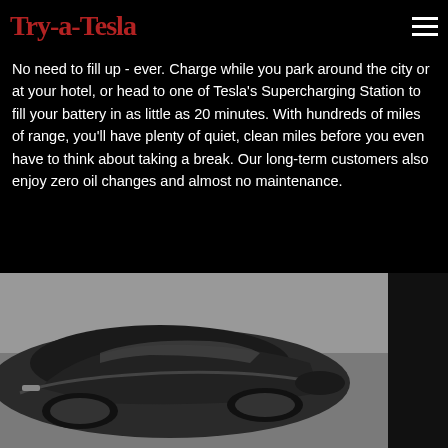Try-a-Tesla
No need to fill up - ever. Charge while you park around the city or at your hotel, or head to one of Tesla's Supercharging Station to fill your battery in as little as 20 minutes. With hundreds of miles of range, you'll have plenty of quiet, clean miles before you even have to think about taking a break. Our long-term customers also enjoy zero oil changes and almost no maintenance.
[Figure (photo): Black and white photograph of a Tesla car viewed from above/side angle, showing the roof and hood, with a road/parking surface visible in the background.]